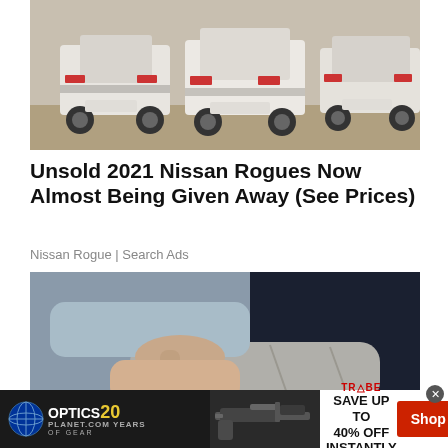[Figure (photo): Row of white Nissan Rogue SUVs parked in a sandy/dusty lot, rear view]
Unsold 2021 Nissan Rogues Now Almost Being Given Away (See Prices)
Nissan Rogue | Search Ads
[Figure (photo): Close-up of a hand pressing on a person's knee/leg area]
[Figure (other): Advertisement banner: OPTICS PLANET 20 YEARS OF GEAR with gun image and TRYBE logo, SAVE UP TO 40% OFF INSTANTLY, Shop Now button]